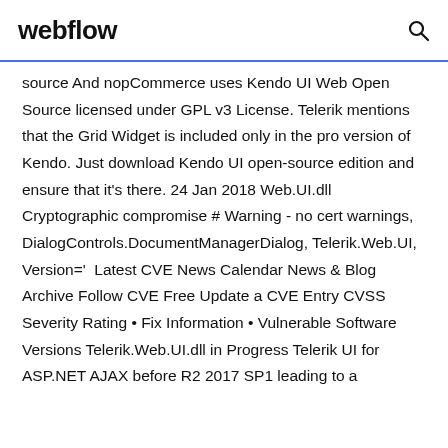webflow
source And nopCommerce uses Kendo UI Web Open Source licensed under GPL v3 License. Telerik mentions that the Grid Widget is included only in the pro version of Kendo. Just download Kendo UI open-source edition and ensure that it's there. 24 Jan 2018 Web.UI.dll Cryptographic compromise # Warning - no cert warnings, DialogControls.DocumentManagerDialog, Telerik.Web.UI, Version='  Latest CVE News Calendar News & Blog Archive Follow CVE Free Update a CVE Entry CVSS Severity Rating • Fix Information • Vulnerable Software Versions Telerik.Web.UI.dll in Progress Telerik UI for ASP.NET AJAX before R2 2017 SP1 leading to a